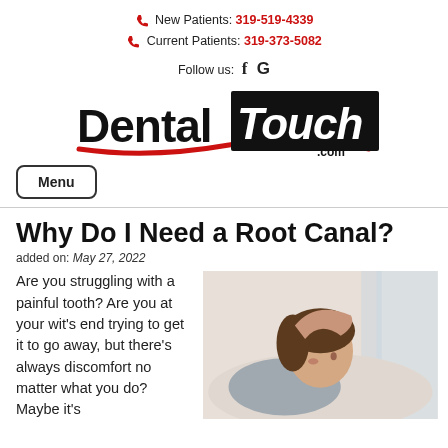New Patients: 319-519-4339
Current Patients: 319-373-5082
Follow us: f G
[Figure (logo): Dental Touch .com logo — black and white text with red swoosh underline, 'Touch' on black background]
Menu
Why Do I Need a Root Canal?
added on: May 27, 2022
Are you struggling with a painful tooth? Are you at your wit's end trying to get it to go away, but there's always discomfort no matter what you do? Maybe it's
[Figure (photo): Woman lying down holding her head/jaw in pain, suggesting tooth pain]